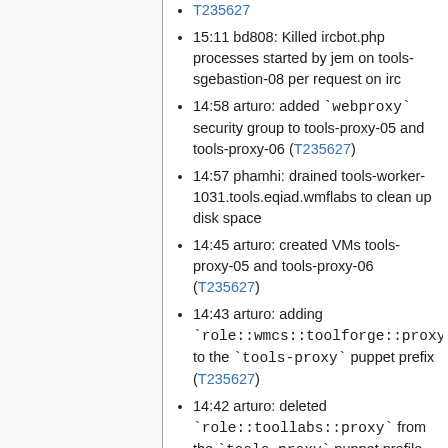T235627
15:11 bd808: Killed ircbot.php processes started by jem on tools-sgebastion-08 per request on irc
14:58 arturo: added `webproxy` security group to tools-proxy-05 and tools-proxy-06 (T235627)
14:57 phamhi: drained tools-worker-1031.tools.eqiad.wmflabs to clean up disk space
14:45 arturo: created VMs tools-proxy-05 and tools-proxy-06 (T235627)
14:43 arturo: adding `role::wmcs::toolforge::proxy` to the `tools-proxy` puppet prefix (T235627)
14:42 arturo: deleted `role::toollabs::proxy` from the `tools-proxy` puppet profile (T235627)
14:34 arturo: ...